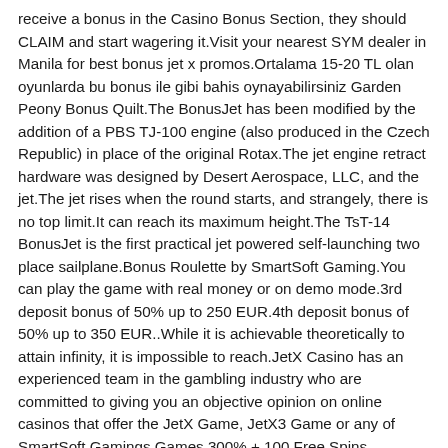receive a bonus in the Casino Bonus Section, they should CLAIM and start wagering it.Visit your nearest SYM dealer in Manila for best bonus jet x promos.Ortalama 15-20 TL olan oyunlarda bu bonus ile gibi bahis oynayabilirsiniz Garden Peony Bonus Quilt.The BonusJet has been modified by the addition of a PBS TJ-100 engine (also produced in the Czech Republic) in place of the original Rotax.The jet engine retract hardware was designed by Desert Aerospace, LLC, and the jet.The jet rises when the round starts, and strangely, there is no top limit.It can reach its maximum height.The TsT-14 BonusJet is the first practical jet powered self-launching two place sailplane.Bonus Roulette by SmartSoft Gaming.You can play the game with real money or on demo mode.3rd deposit bonus of 50% up to 250 EUR.4th deposit bonus of 50% up to 350 EUR..While it is achievable theoretically to attain infinity, it is impossible to reach.JetX Casino has an experienced team in the gambling industry who are committed to giving you an objective opinion on online casinos that offer the JetX Game, JetX3 Game or any of SmartSoft Gamings Games 300% + 100 Free Spins Play.Bonus Roulette by SmartSoft Gaming.The package is divided into 5 bonuses: 1st deposit bonus of 150% up to 3000 EUR + 50 Bonus Spins on Starburst, Scroll of Adventure, Avalon: The Lost Kingdom, Miss Cherry Fruits or Aztec